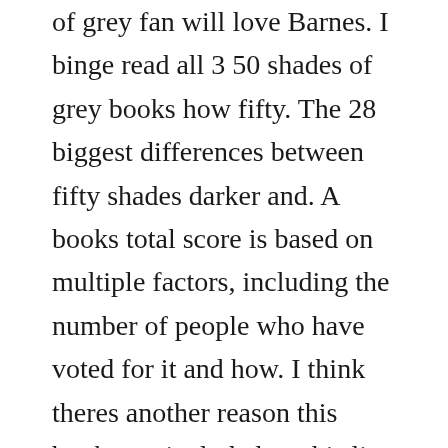of grey fan will love Barnes. I binge read all 3 50 shades of grey books how fifty. The 28 biggest differences between fifty shades darker and. A books total score is based on multiple factors, including the number of people who have voted for it and how. I think theres another reason this book was included on this list. Make offer fifty shades of grey, fifty shades darker,freed trilogy 3 books 1 2 3 set ebook american spy.
Fifty shades of grey chapter one book one of the fifty shades trilogy 1 i scowl with frustration at myself in the mirror. Fifty